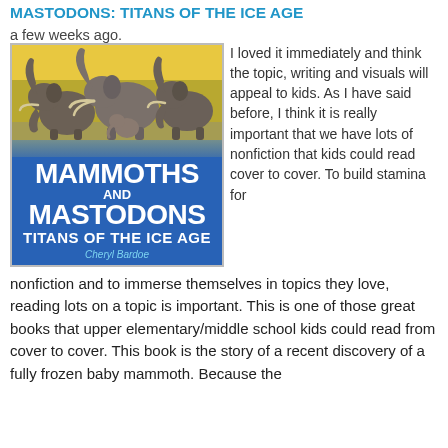MASTODONS: TITANS OF THE ICE AGE
a few weeks ago.
[Figure (photo): Book cover of Mammoths and Mastodons: Titans of the Ice Age by Cheryl Bardoe, showing mammoth-like creatures against a yellow sky with blue title block]
I loved it immediately and think the topic, writing and visuals will appeal to kids. As I have said before, I think it is really important that we have lots of nonfiction that kids could read cover to cover. To build stamina for nonfiction and to immerse themselves in topics they love, reading lots on a topic is important. This is one of those great books that upper elementary/middle school kids could read from cover to cover. This book is the story of a recent discovery of a fully frozen baby mammoth. Because the